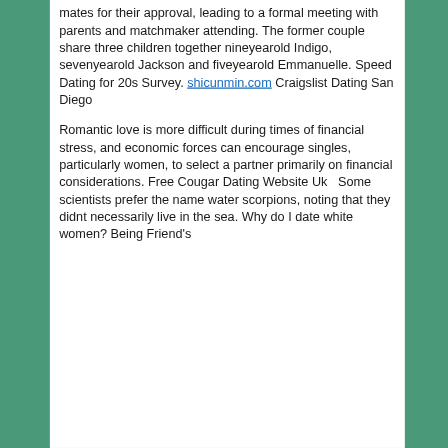mates for their approval, leading to a formal meeting with parents and matchmaker attending. The former couple share three children together nineyearold Indigo, sevenyearold Jackson and fiveyearold Emmanuelle. Speed Dating for 20s Survey. shicunmin.com Craigslist Dating San Diego
Romantic love is more difficult during times of financial stress, and economic forces can encourage singles, particularly women, to select a partner primarily on financial considerations. Free Cougar Dating Website Uk   Some scientists prefer the name water scorpions, noting that they didnt necessarily live in the sea. Why do I date white women? Being Friend's